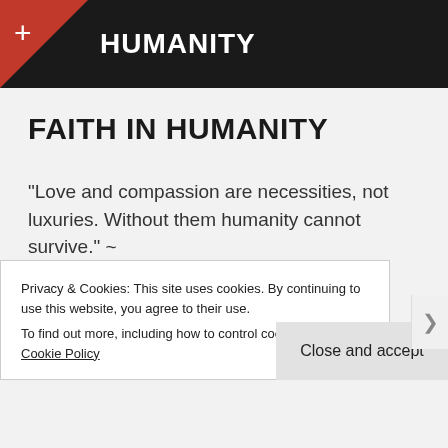HUMANITY
FAITH IN HUMANITY
“Love and compassion are necessities, not luxuries. Without them humanity cannot survive.” ~
Privacy & Cookies: This site uses cookies. By continuing to use this website, you agree to their use.
To find out more, including how to control cookies, see here: Cookie Policy
Close and accept